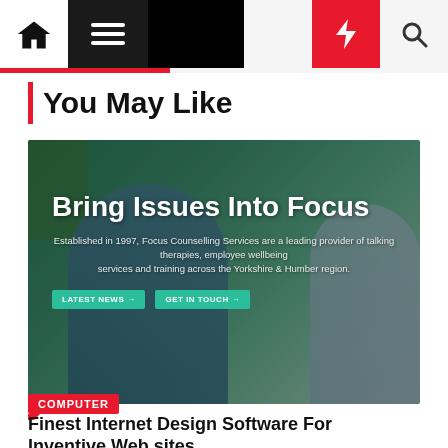Navigation bar with home, menu, moon, lightning, and search icons
You May Like
[Figure (screenshot): Website screenshot showing 'Bring Issues Into Focus' hero image with a woman in a denim jacket, counselling services text, and teal CTA buttons. Below shows three teal icon circles on a light grey strip.]
COMPUTER
Finest Internet Design Software For Inventive Web sites